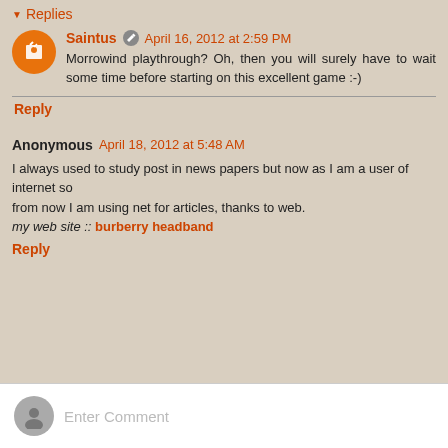▼ Replies
Saintus  April 16, 2012 at 2:59 PM
Morrowind playthrough? Oh, then you will surely have to wait some time before starting on this excellent game :-)
Reply
Anonymous  April 18, 2012 at 5:48 AM
I always used to study post in news papers but now as I am a user of internet so
from now I am using net for articles, thanks to web.
my web site :: burberry headband
Reply
Enter Comment